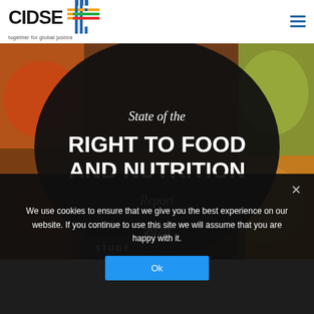[Figure (logo): CIDSE logo with colourful cross/grid mark and tagline 'together for global justice']
[Figure (photo): Hero image: State of the Right to Food and Nutrition Report 2020 book cover with large black circle overlay on colourful food market photo background]
STUDY
We use cookies to ensure that we give you the best experience on our website. If you continue to use this site we will assume that you are happy with it.
Ok